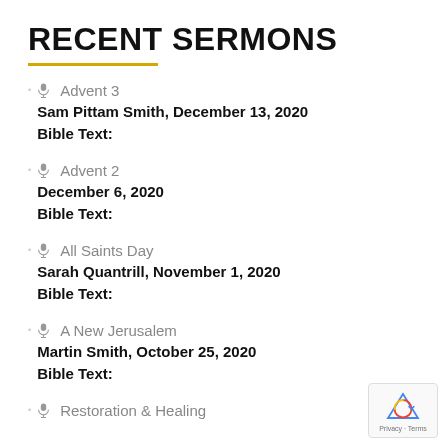RECENT SERMONS
Advent 3
Sam Pittam Smith, December 13, 2020
Bible Text:
Advent 2
December 6, 2020
Bible Text:
All Saints Day
Sarah Quantrill, November 1, 2020
Bible Text:
A New Jerusalem
Martin Smith, October 25, 2020
Bible Text:
Restoration & Healing